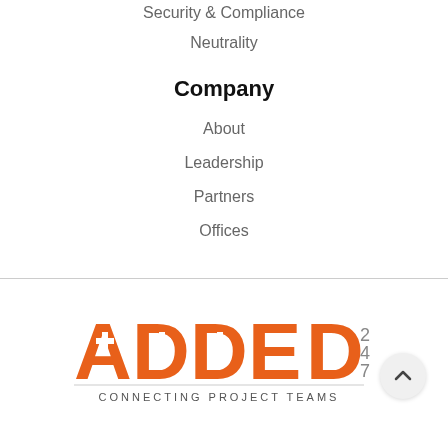Security & Compliance
Neutrality
Company
About
Leadership
Partners
Offices
[Figure (logo): ADDED 247 - Connecting Project Teams logo in orange with cross symbols embedded in letters]